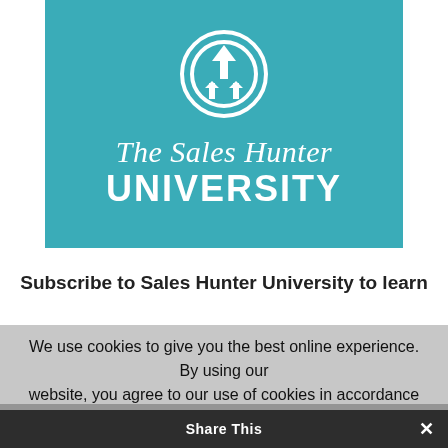[Figure (logo): The Sales Hunter University logo on teal/blue-green background with white circular arrow icon above the text]
Subscribe to Sales Hunter University to learn
We use cookies to give you the best online experience. By using our website, you agree to our use of cookies in accordance with our
privacy policy. Accept Read More
Share This ×